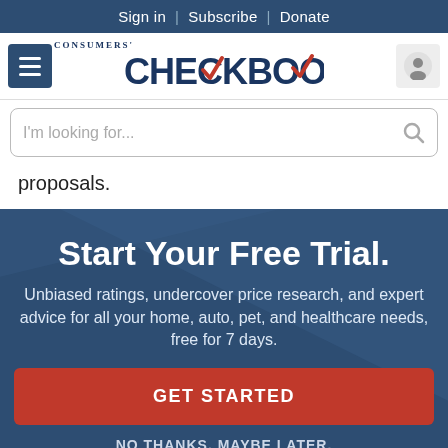Sign in | Subscribe | Donate
[Figure (logo): Consumers' Checkbook logo with navigation menu button and user account button]
[Figure (screenshot): Search bar with placeholder text 'I'm looking for...']
proposals.
Start Your Free Trial.
Unbiased ratings, undercover price research, and expert advice for all your home, auto, pet, and healthcare needs, free for 7 days.
GET STARTED
NO THANKS, MAYBE LATER.